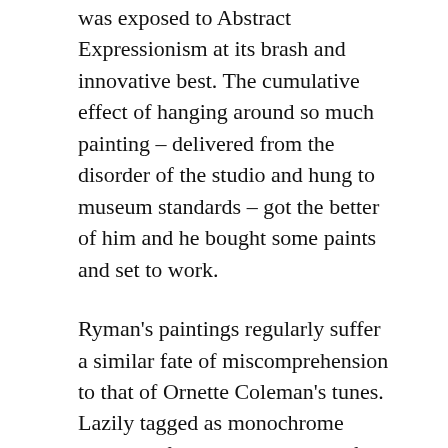was exposed to Abstract Expressionism at its brash and innovative best. The cumulative effect of hanging around so much painting – delivered from the disorder of the studio and hung to museum standards – got the better of him and he bought some paints and set to work.
Ryman's paintings regularly suffer a similar fate of miscomprehension to that of Ornette Coleman's tunes. Lazily tagged as monochrome because of the predominance of white, they are, more often than not, busy surfaces of carefully placed impasto on dense weave, often raw, canvas – the metal brackets on which they are hung sometimes left starkly,